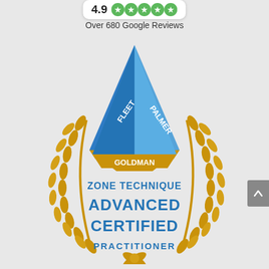[Figure (infographic): Google rating box showing 4.9 with five green star icons]
Over 680 Google Reviews
[Figure (logo): Zone Technique Advanced Certified Practitioner badge with blue/gold triangle (Fleet, Palmer, Goldman labels) and gold laurel wreath surrounding text: ZONE TECHNIQUE ADVANCED CERTIFIED PRACTITIONER]